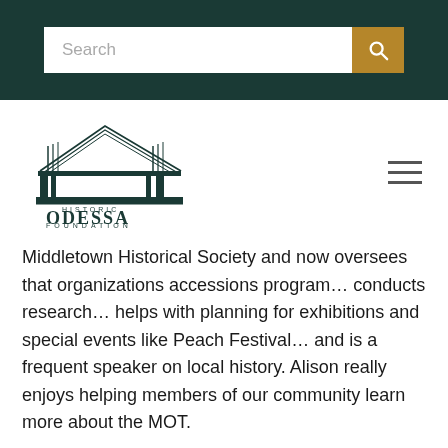Search [navigation bar with Historic Odessa Foundation logo]
[Figure (logo): Historic Odessa Foundation logo: architectural pediment drawing above text 'HISTORIC ODESSA FOUNDATION']
Middletown Historical Society and now oversees that organizations accessions program… conducts research… helps with planning for exhibitions and special events like Peach Festival… and is a frequent speaker on local history. Alison really enjoys helping members of our community learn more about the MOT.
Her friends at Historic Odessa marvel at her energy…